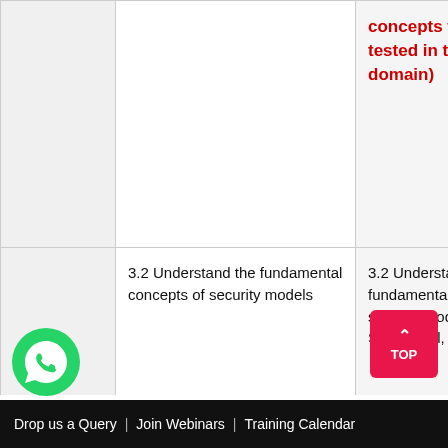|  | Topic | Concepts to be tested in this domain |
| --- | --- | --- |
|  |  | concepts to be tested in this domain) |
|  | 3.2 Understand the fundamental concepts of security models | 3.2 Understand fundamental concepts of security models (e.g., Star Model, Bell… |
|  | 3.3 Select controls based upon systems security requirements | 3.3 Select controls based upon systems security requirements |
|  | 3.4 Understand security capabilities of | 3.4 Understand security capabilities of h… |
Drop us a Query  |  Join Webinars  |  Training Calendar